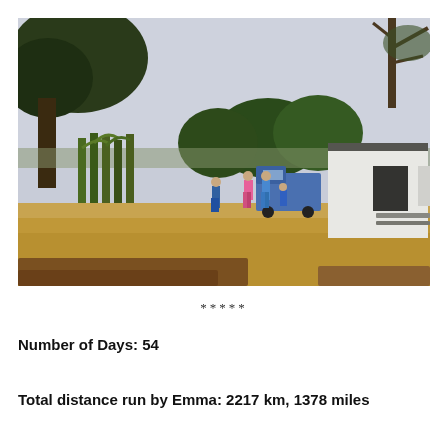[Figure (photo): Outdoor farm scene with people walking near a blue truck, a white building on the right, corn/maize plants on the left, dry grass in the foreground, and trees in the background under a hazy sky.]
*****
Number of Days: 54
Total distance run by Emma: 2217 km, 1378 miles